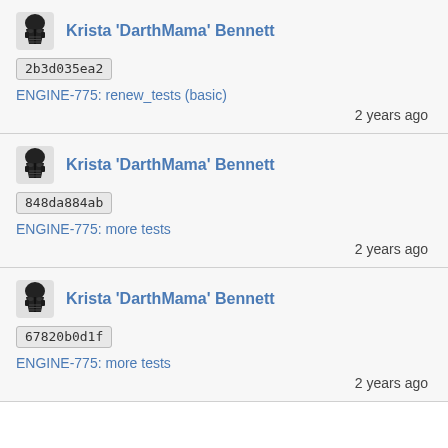Krista 'DarthMama' Bennett | 2b3d035ea2 | ENGINE-775: renew_tests (basic) | 2 years ago
Krista 'DarthMama' Bennett | 848da884ab | ENGINE-775: more tests | 2 years ago
Krista 'DarthMama' Bennett | 67820b0d1f | ENGINE-775: more tests | 2 years ago